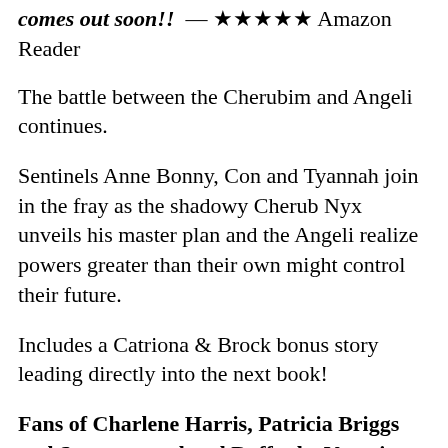comes out soon!!  — ★★★★★ Amazon Reader
The battle between the Cherubim and Angeli continues.
Sentinels Anne Bonny, Con and Tyannah join in the fray as the shadowy Cherub Nyx unveils his master plan and the Angeli realize powers greater than their own might control their future.
Includes a Catriona & Brock bonus story leading directly into the next book!
Fans of Charlene Harris, Patricia Briggs and Supernatural and Buffy the Vampire Slayer will love this rollicking urban